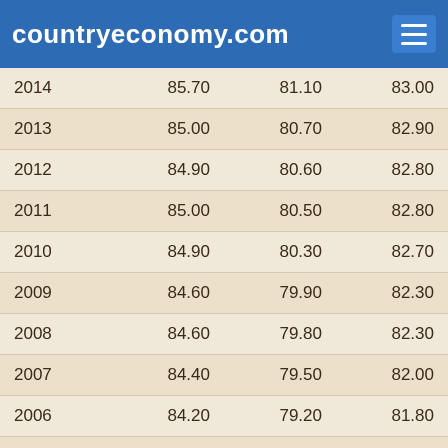countryeconomy.com
| Year | Col1 | Col2 | Col3 |
| --- | --- | --- | --- |
| 2014 | 85.70 | 81.10 | 83.00 |
| 2013 | 85.00 | 80.70 | 82.90 |
| 2012 | 84.90 | 80.60 | 82.80 |
| 2011 | 85.00 | 80.50 | 82.80 |
| 2010 | 84.90 | 80.30 | 82.70 |
| 2009 | 84.60 | 79.90 | 82.30 |
| 2008 | 84.60 | 79.80 | 82.30 |
| 2007 | 84.40 | 79.50 | 82.00 |
| 2006 | 84.20 | 79.20 | 81.80 |
| 2005 | 84.00 | 78.70 | 81.50 |
| 2004 | 83.80 | 78.60 | 81.30 |
| 2003 | 83.20 | 78.00 | 80.70 |
| 2002 | 83.20 | 77.90 | 80.60 |
| 2001 | 83.20 | 77.50 | 80.50 |
| 2000 | 82.80 | 77.00 | 80.00 |